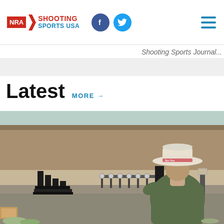NRA Shooting Sports USA — header with logo, social icons, hamburger menu
Shooting Sports Journal...
Latest
MORE →
[Figure (photo): Person wearing a cowboy hat and olive green jacket viewed from behind, aiming at a shooting range with metal target stands and earthen berm backstop, outdoor setting with desert scrub vegetation]